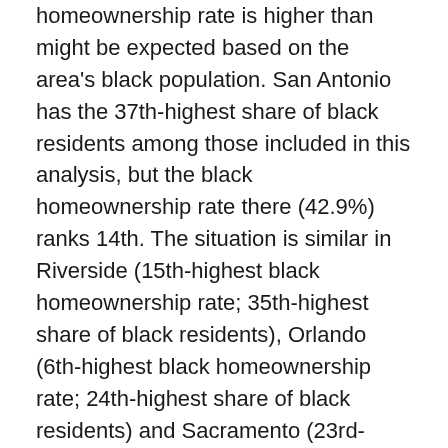homeownership rate is higher than might be expected based on the area's black population. San Antonio has the 37th-highest share of black residents among those included in this analysis, but the black homeownership rate there (42.9%) ranks 14th. The situation is similar in Riverside (15th-highest black homeownership rate; 35th-highest share of black residents), Orlando (6th-highest black homeownership rate; 24th-highest share of black residents) and Sacramento (23rd-highest black homeownership rate; 39th-highest share of black residents).
According to the Zillow Group Consumer Housing Trends Report, black home buyers are more likely to be at least somewhat concerned about qualifying for a mortgage (59%) than white buyers (46%). And black renters are more likely to be...